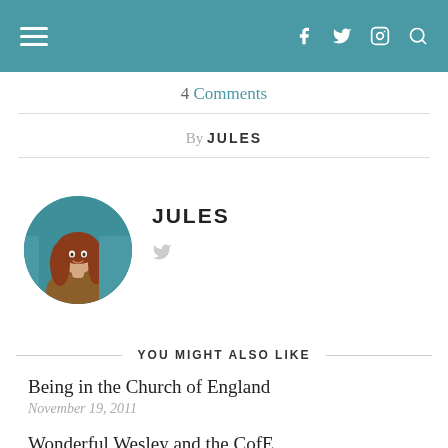Navigation bar with hamburger menu, Facebook, Twitter, Instagram, and Search icons
4 Comments
By JULES
[Figure (photo): Circular avatar photo of Jules, a woman with long reddish hair wearing a brown sweater, standing in front of a teal wall]
JULES
YOU MIGHT ALSO LIKE
Being in the Church of England
November 19, 2011
Wonderful Wesley and the CofE
November 22, 2010